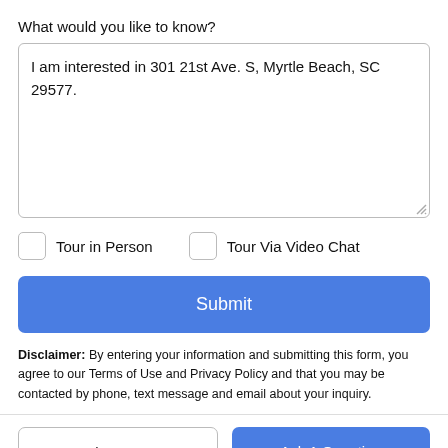What would you like to know?
I am interested in 301 21st Ave. S, Myrtle Beach, SC 29577.
Tour in Person
Tour Via Video Chat
Submit
Disclaimer: By entering your information and submitting this form, you agree to our Terms of Use and Privacy Policy and that you may be contacted by phone, text message and email about your inquiry.
Take a Tour
Ask A Question